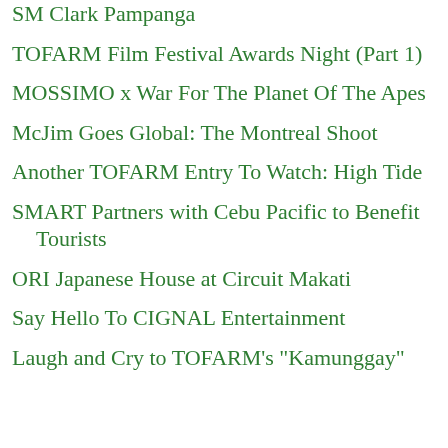SM Clark Pampanga
TOFARM Film Festival Awards Night (Part 1)
MOSSIMO x War For The Planet Of The Apes
McJim Goes Global: The Montreal Shoot
Another TOFARM Entry To Watch: High Tide
SMART Partners with Cebu Pacific to Benefit Tourists
ORI Japanese House at Circuit Makati
Say Hello To CIGNAL Entertainment
Laugh and Cry to TOFARM's "Kamunggay"